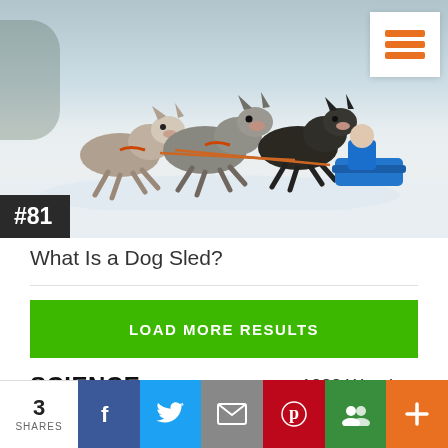[Figure (photo): Sled dogs (huskies) running in snow pulling a sled with a musher in blue jacket. A white menu button with orange hamburger icon is overlaid top-right. A dark grey badge with white text '#81' is overlaid bottom-left.]
What Is a Dog Sled?
[Figure (other): Green button with white uppercase text 'LOAD MORE RESULTS']
SCIENCE
1238 Wonders
[Figure (photo): Partial view of a globe/Earth against a dark blue background, showing green land masses]
3 SHARES | Facebook | Twitter | Email | Pinterest | Google+ | +